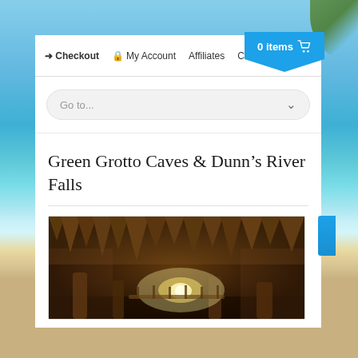➜ Checkout  🔒 My Account  Affiliates  C  0 items 🛒
Go to...
Green Grotto Caves & Dunn's River Falls
[Figure (photo): Interior of Green Grotto Caves showing stalactites and cave formations lit with warm lighting, with a bright light source visible in the background]